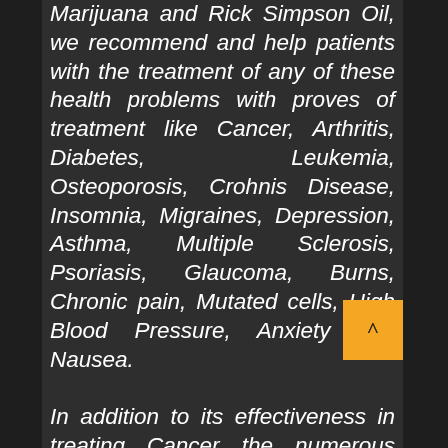Marijuana and Rick Simpson Oil, we recommend and help patients with the treatment of any of these health problems with proves of treatment like Cancer, Arthritis, Diabetes, Leukemia, Osteoporosis, Crohnis Disease, Insomnia, Migraines, Depression, Asthma, Multiple Sclerosis, Psoriasis, Glaucoma, Burns, Chronic pain, Mutated cells, High Blood Pressure, Anxiety and Nausea.

In addition to its effectiveness in treating Cancer the numerous conditions, Rick Simpson Cannabis oil has marvelous anti aging properties.
But hemp oil rejuvenating vital organs which deteriorate over time.
We ship in top discreet packaging using smell-proof bags, we vacuum seal and disguise the package so it